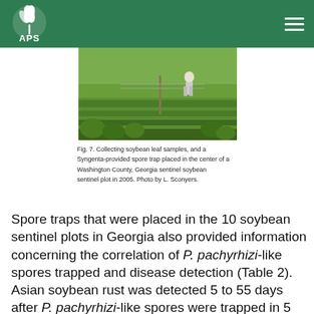APS
[Figure (photo): Field photograph showing a person collecting soybean leaf samples in a green field, with a Syngenta-provided spore trap visible in the center of a Washington County, Georgia sentinel soybean sentinel plot in 2005.]
Fig. 7. Collecting soybean leaf samples, and a Syngenta-provided spore trap placed in the center of a Washington County, Georgia sentinel soybean sentinel plot in 2005. Photo by L. Sconyers.
Spore traps that were placed in the 10 soybean sentinel plots in Georgia also provided information concerning the correlation of P. pachyrhizi-like spores trapped and disease detection (Table 2). Asian soybean rust was detected 5 to 55 days after P. pachyrhizi-like spores were trapped in 5 counties.